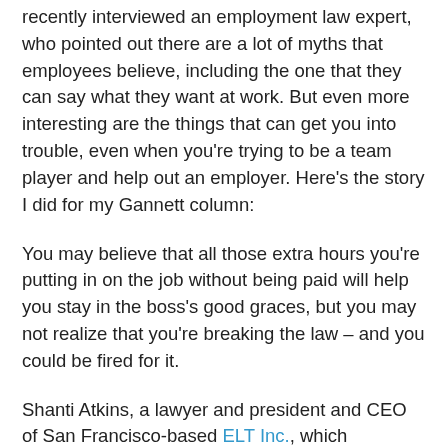recently interviewed an employment law expert, who pointed out there are a lot of myths that employees believe, including the one that they can say what they want at work. But even more interesting are the things that can get you into trouble, even when you're trying to be a team player and help out an employer. Here's the story I did for my Gannett column:
You may believe that all those extra hours you're putting in on the job without being paid will help you stay in the boss's good graces, but you may not realize that you're breaking the law – and you could be fired for it.
Shanti Atkins, a lawyer and president and CEO of San Francisco-based ELT Inc., which specializes in ethics and workplace compliance training, says that showing you're dedicated by “volunteering” your time is a mistake.
“A lot of people are worried about their jobs, and they want to contribute in this recession by working off the clock. But 90 percent of people – and their managers – don’t realize they’re not complying with federal wage and hour laws and it’s a huge, huge, area of risk for companies,” Atkins says.